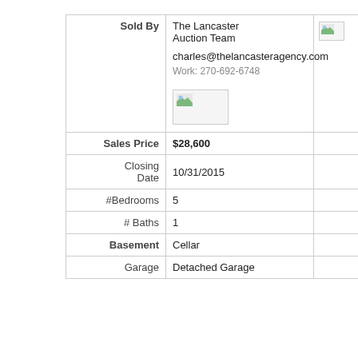| Field | Value |  |
| --- | --- | --- |
| Sold By | The Lancaster Auction Team
charles@thelancasteragency.com
Work: 270-692-6748
[image] | [image] |
| Sales Price | $28,600 |  |
| Closing Date | 10/31/2015 |  |
| #Bedrooms | 5 |  |
| # Baths | 1 |  |
| Basement | Cellar |  |
| Garage | Detached Garage |  |